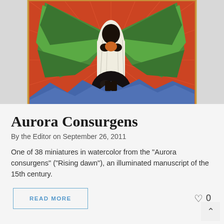[Figure (illustration): A medieval illuminated manuscript miniature showing an angel figure in white robes with large green wings, set against a vivid red background with radiating lines. The figure stands on a dark sphere, with blue mountains or hills at the bottom. The image has a decorative gold border.]
Aurora Consurgens
By the Editor on September 26, 2011
One of 38 miniatures in watercolor from the "Aurora consurgens" ("Rising dawn"), an illuminated manuscript of the 15th century.
READ MORE
0